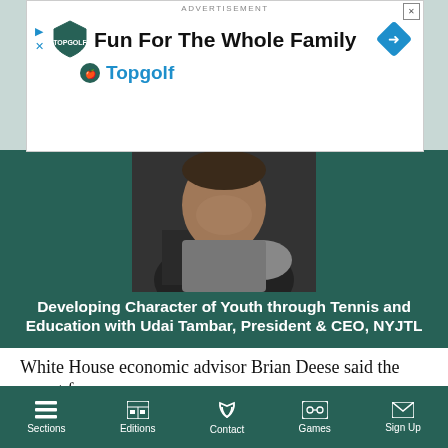[Figure (screenshot): Advertisement banner for Topgolf: 'Fun For The Whole Family' with Topgolf logo and navigation arrow diamond icon]
[Figure (photo): Podcast episode card with photo of Udai Tambar on dark teal background, title 'Developing Character of Youth through Tennis and Education with Udai Tambar, President & CEO, NYJTL', source 'Schneps Connects', and audio player controls showing 00:00 / 00:00]
White House economic advisor Brian Deese said the report from
Sections  Editions  Contact  Games  Sign Up